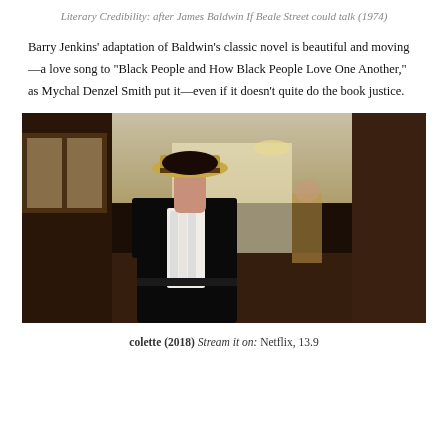Literary Credibility: after James Baldwin If Beale Street could talk (1974)
Barry Jenkins' adaptation of Baldwin's classic novel is beautiful and moving—a love song to "Black People and How Black People Love One Another," as Mychal Denzel Smith put it—even if it doesn't quite do the book justice.
[Figure (photo): A woman in period costume wearing a straw boater hat and black jacket with white ruffled blouse stands in an ornate hallway. Another figure is visible in the background.]
colette (2018) Stream it on: Netflix, 13.9